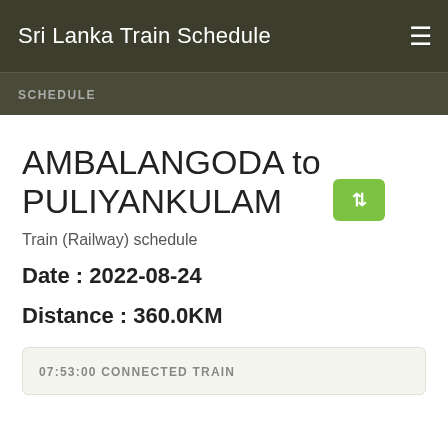Sri Lanka Train Schedule
SCHEDULE
AMBALANGODA to PULIYANKULAM
Train (Railway) schedule
Date : 2022-08-24
Distance : 360.0KM
07:53:00 CONNECTED TRAIN